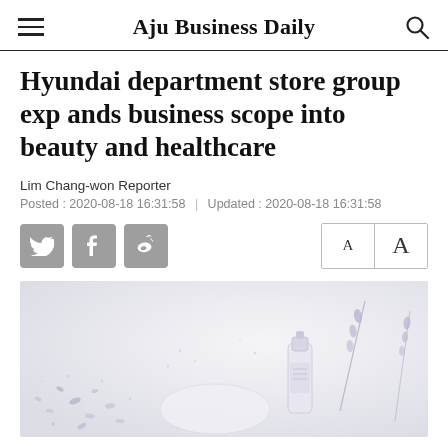Aju Business Daily
Hyundai department store group expands business scope into beauty and healthcare
Lim Chang-won Reporter
Posted : 2020-08-18 16:31:58   |   Updated : 2020-08-18 16:31:58
[Figure (photo): Flatlay photo on light background showing a glass bottle of beauty/skincare product and dried lavender flowers with small scattered petals on a white/light grey surface]